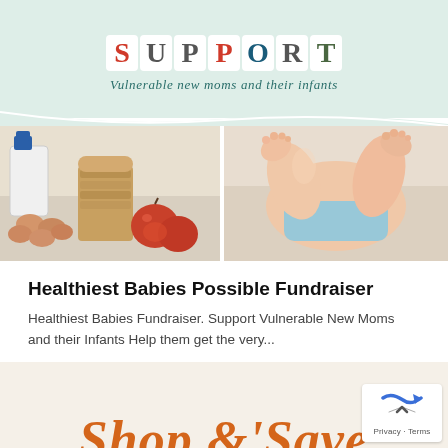[Figure (illustration): Banner with colorful block letters spelling SUPPORT on a mint green background, with subtitle 'Vulnerable new moms and their infants' in teal italic text]
[Figure (photo): Two-panel photo strip: left panel shows food items including milk jug, eggs, whole grain bread slices, and apples on white surface; right panel shows baby's feet and legs on a white surface]
Healthiest Babies Possible Fundraiser
Healthiest Babies Fundraiser. Support Vulnerable New Moms and their Infants Help them get the very...
[Figure (illustration): Partial view of decorative text reading 'Shop & Save' in large orange italic script on a cream/beige background, with a Privacy & Terms badge overlay in bottom right corner]